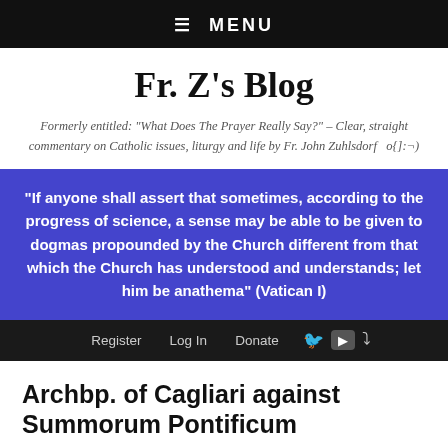☰  MENU
Fr. Z's Blog
Formerly entitled: "What Does The Prayer Really Say?" – Clear, straight commentary on Catholic issues, liturgy and life by Fr. John Zuhlsdorf   o{]:¬)
"If anyone shall assert that sometimes, according to the progress of science, a sense may be able to be given to dogmas propounded by the Church different from that which the Church has understood and understands; let him be anathema" (Vatican I)
Register   Log In   Donate
Archbp. of Cagliari against Summorum Pontificum
Posted on 7 August 2009 by Fr. John Zuhlsdorf